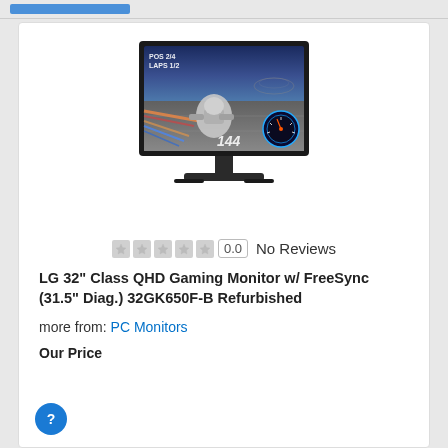[Figure (photo): LG 32-inch QHD Gaming Monitor product photo showing the monitor with a racing game on screen displaying '144' Hz and race position HUD, on a stand]
0.0  No Reviews
LG 32" Class QHD Gaming Monitor w/ FreeSync (31.5" Diag.) 32GK650F-B Refurbished
more from: PC Monitors
Our Price